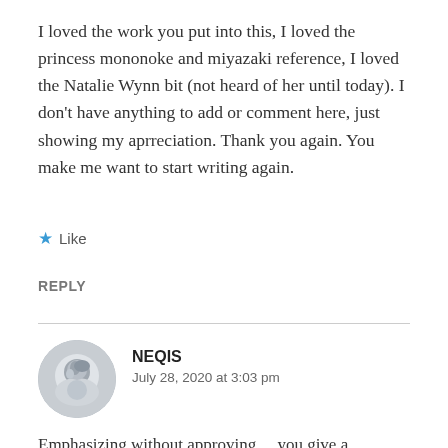I loved the work you put into this, I loved the princess mononoke and miyazaki reference, I loved the Natalie Wynn bit (not heard of her until today). I don't have anything to add or comment here, just showing my aprreciation. Thank you again. You make me want to start writing again.
★ Like
REPLY
NEQIS
July 28, 2020 at 3:03 pm
Emphasizing without approving… you give a perfectly succinct resolution to the questions the